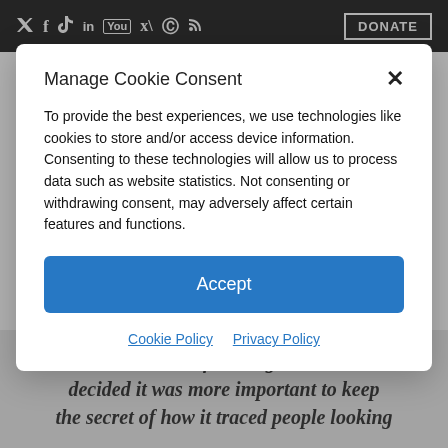Twitter Facebook TikTok LinkedIn YouTube Pinterest RSS  DONATE
Liberty Nation News
Manage Cookie Consent
To provide the best experiences, we use technologies like cookies to store and/or access device information. Consenting to these technologies will allow us to process data such as website statistics. Not consenting or withdrawing consent, may adversely affect certain features and functions.
Accept
Cookie Policy  Privacy Policy
This week the federal government decided it was more important to keep the secret of how it traced people looking